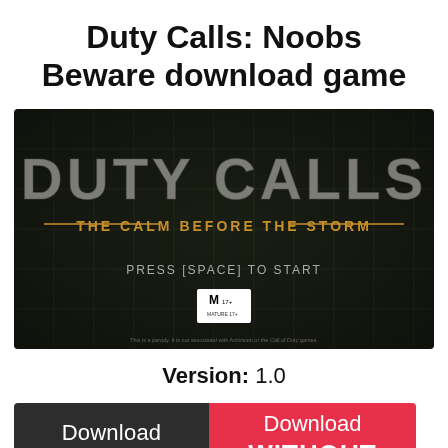Duty Calls: Noobs Beware download game
[Figure (screenshot): Game title screen for 'Duty Calls: The Calm Before the Storm' showing title text and 'PRESS [SPACE] TO START' on a dark military-style background with grid lines.]
Version: 1.0
Download
Download WITHOUT